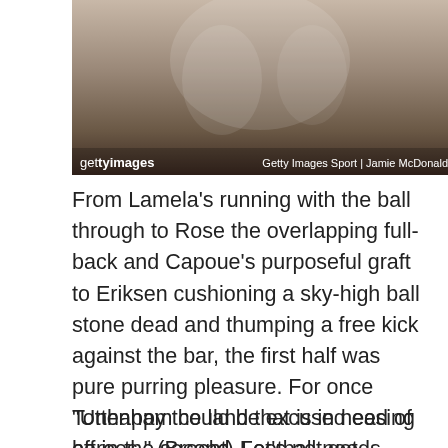[Figure (photo): Sports photo showing football players celebrating or interacting, with Getty Images watermark. Credit: Getty Images Sport | Jamie McDonald]
From Lamela's running with the ball through to Rose the overlapping full-back and Capoue's purposeful graft to Eriksen cushioning a sky-high ball stone dead and thumping a free kick against the bar, the first half was pure purring pleasure. For once Tottenham could be excused easing off in the second. Let's not get carried away – Rangers were dire – but Tottenham On My Mind's mantra is enjoy it while you can and if my ambition for this season is to enjoy it all again, this was a great start.
"Unhappy the land that is in need of heroes." (Brecht) Football needs heroes and we've been looking for so